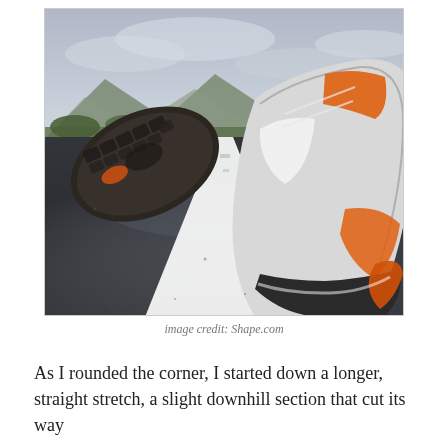[Figure (photo): Low-angle photograph of two running shoes on a wet asphalt road with a white centre line stretching into the distance, mountains and overcast sky in the background.]
image credit: Shape.com
As I rounded the corner, I started down a longer, straight stretch, a slight downhill section that cut its way